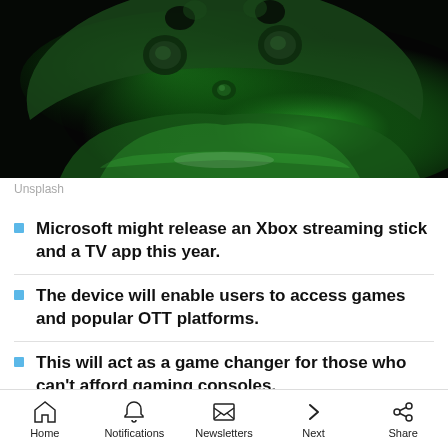[Figure (photo): Close-up of a green Xbox controller against a dark background, with green lighting highlighting the surface.]
Unsplash
Microsoft might release an Xbox streaming stick and a TV app this year.
The device will enable users to access games and popular OTT platforms.
This will act as a game changer for those who can't afford gaming consoles.
Home  Notifications  Newsletters  Next  Share